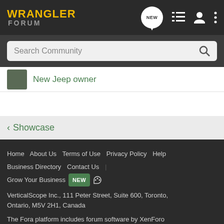WRANGLER FORUM
Search Community
New Jeep owner
< Showcase
Home | About Us | Terms of Use | Privacy Policy | Help | Business Directory | Contact Us | Grow Your Business NEW
VerticalScope Inc., 111 Peter Street, Suite 600, Toronto, Ontario, M5V 2H1, Canada
The Fora platform includes forum software by XenForo